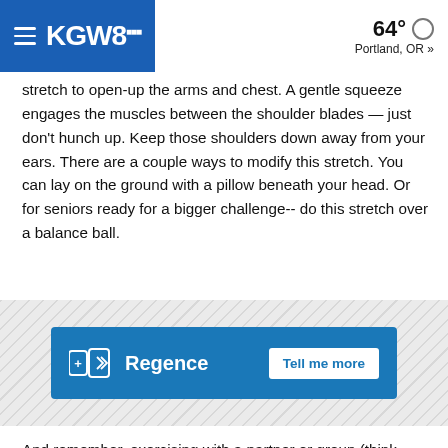KGW8 | 64° Portland, OR »
stretch to open-up the arms and chest. A gentle squeeze engages the muscles between the shoulder blades — just don't hunch up. Keep those shoulders down away from your ears. There are a couple ways to modify this stretch. You can lay on the ground with a pillow beneath your head. Or for seniors ready for a bigger challenge-- do this stretch over a balance ball.
[Figure (other): Regence Blue Shield advertisement banner with 'Tell me more' button on diagonal striped background]
And remember, exercising with a partner or group (think dance classes or tennis) adds an important social element.
Bob says, "Having people that you care about, that care